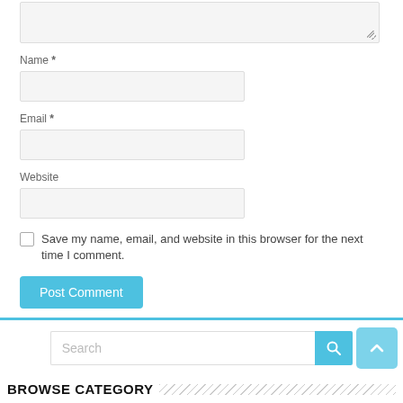[Figure (screenshot): Partial textarea input field at top of page]
Name *
[Figure (screenshot): Name input field (empty, light gray background)]
Email *
[Figure (screenshot): Email input field (empty, light gray background)]
Website
[Figure (screenshot): Website input field (empty, light gray background)]
Save my name, email, and website in this browser for the next time I comment.
Post Comment
[Figure (screenshot): Search bar with blue search button and back-to-top arrow button]
BROWSE CATEGORY